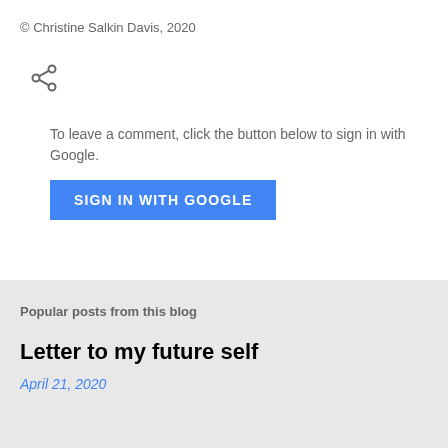© Christine Salkin Davis, 2020
[Figure (illustration): Share icon (network/social share symbol)]
To leave a comment, click the button below to sign in with Google.
SIGN IN WITH GOOGLE
Popular posts from this blog
Letter to my future self
April 21, 2020